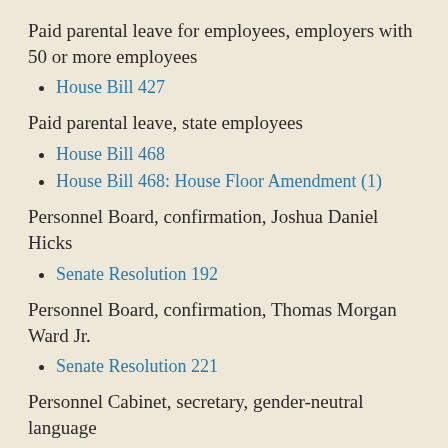Paid parental leave for employees, employers with 50 or more employees
House Bill 427
Paid parental leave, state employees
House Bill 468
House Bill 468: House Floor Amendment (1)
Personnel Board, confirmation, Joshua Daniel Hicks
Senate Resolution 192
Personnel Board, confirmation, Thomas Morgan Ward Jr.
Senate Resolution 221
Personnel Cabinet, secretary, gender-neutral language
House Bill 519